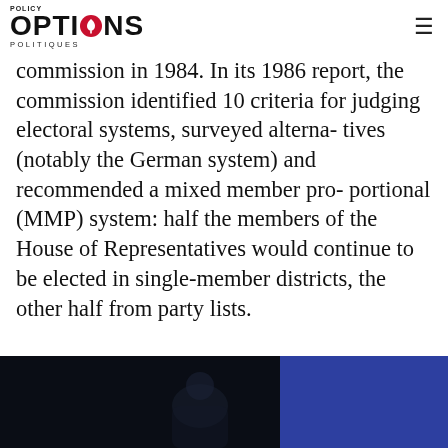Policy Options Politiques
commission in 1984. In its 1986 report, the commission identified 10 criteria for judging electoral systems, surveyed alterna- tives (notably the German system) and recommended a mixed member pro- portional (MMP) system: half the members of the House of Representatives would continue to be elected in single-member districts, the other half from party lists.
[Figure (photo): Bottom portion of a photograph showing a person, with dark background on the left and blue/purple background on the right.]